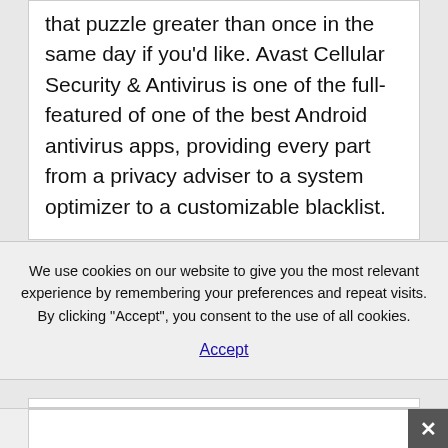that puzzle greater than once in the same day if you'd like. Avast Cellular Security & Antivirus is one of the full-featured of one of the best Android antivirus apps, providing every part from a privacy adviser to a system optimizer to a customizable blacklist.
We use cookies on our website to give you the most relevant experience by remembering your preferences and repeat visits. By clicking "Accept", you consent to the use of all cookies.
Accept
[Figure (screenshot): Empty white content box below cookie banner]
[Figure (screenshot): Bottom bar with close (X) button in the bottom-right corner]